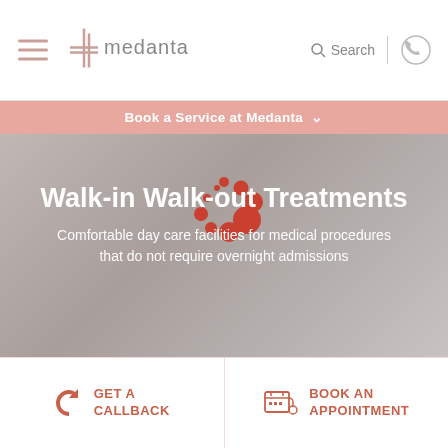[Figure (screenshot): Medanta hospital website header with hamburger menu, Medanta logo (cross and text), search icon, and phone icon]
Book a Service at Medanta
Walk-in Walk-out Treatments
Comfortable day care facilities for medical procedures that do not require overnight admissions
GET A CALLBACK
BOOK AN APPOINTMENT